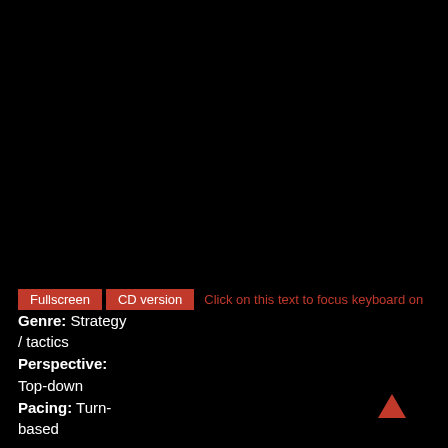[Figure (screenshot): Black background filling most of the page, representing a game or application screen area]
Fullscreen   CD version   Click on this text to focus keyboard on
Genre: Strategy / tactics Perspective: Top-down Pacing: Turn-based